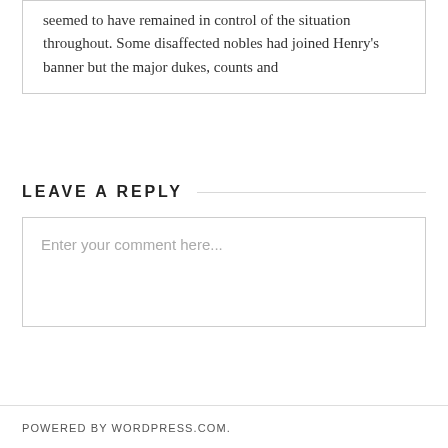seemed to have remained in control of the situation throughout. Some disaffected nobles had joined Henry's banner but the major dukes, counts and
LEAVE A REPLY
Enter your comment here...
POWERED BY WORDPRESS.COM.